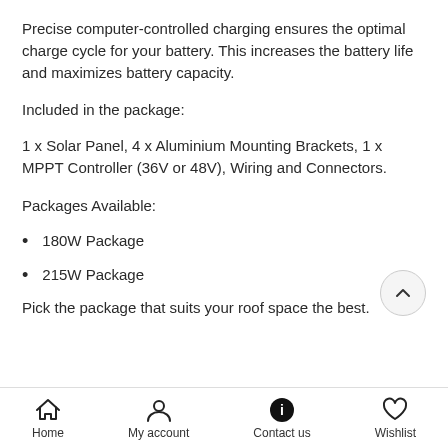Precise computer-controlled charging ensures the optimal charge cycle for your battery. This increases the battery life and maximizes battery capacity.
Included in the package:
1 x Solar Panel, 4 x Aluminium Mounting Brackets, 1 x MPPT Controller (36V or 48V), Wiring and Connectors.
Packages Available:
180W Package
215W Package
Pick the package that suits your roof space the best.
Home | My account | Contact us | Wishlist